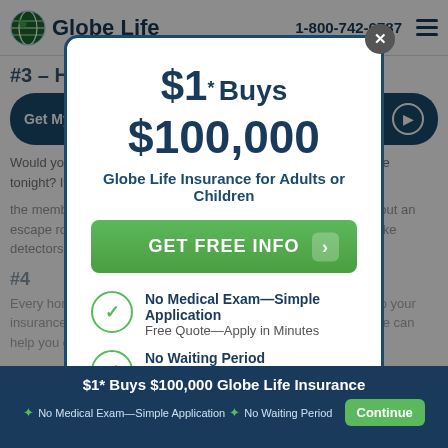Globe Life | 1-800-742-6787
#3 – Have a Fire Evacuation Plan
Get My FREE Quote — Apply In Minutes
Would your family know what to do if a fire broke out in your home tonight? If not, then a fire evacuation plan is in order. Talk to...
$1* Buys $100,000 Globe Life Insurance for Adults or Children
GET FREE INFO
No Medical Exam—Simple Application
Free Quote—Apply in Minutes
No Waiting Period
Full Coverage The First Day—Fast Approval Process
$1* Buys $100,000 Globe Life Insurance ✦ No Medical Exam—Simple Application ✦ No Waiting Period Continue